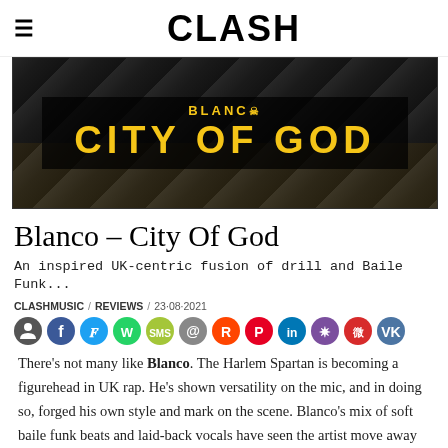CLASH
[Figure (photo): Hero image for Blanco - City Of God single/album artwork. Dark background with yellow/gold text reading 'BLANCO' with skull icon and 'CITY OF GOD' in large bold letters. Gold/yellow fabric visible at bottom.]
Blanco – City Of God
An inspired UK-centric fusion of drill and Baile Funk...
CLASHMUSIC / REVIEWS / 23·08·2021
There's not many like Blanco. The Harlem Spartan is becoming a figurehead in UK rap. He's shown versatility on the mic, and in doing so, forged his own style and mark on the scene. Blanco's mix of soft baile funk beats and laid-back vocals have seen the artist move away from the Drill sound